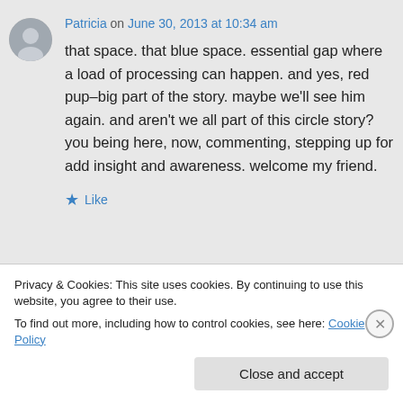Patricia on June 30, 2013 at 10:34 am
that space. that blue space. essential gap where a load of processing can happen. and yes, red pup–big part of the story. maybe we'll see him again. and aren't we all part of this circle story? you being here, now, commenting, stepping up for add insight and awareness. welcome my friend.
★ Like
Privacy & Cookies: This site uses cookies. By continuing to use this website, you agree to their use.
To find out more, including how to control cookies, see here: Cookie Policy
Close and accept